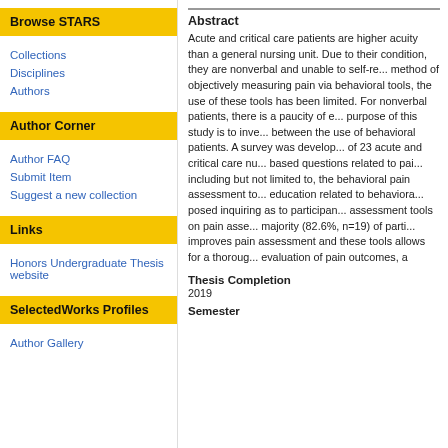Browse STARS
Collections
Disciplines
Authors
Author Corner
Author FAQ
Submit Item
Suggest a new collection
Links
Honors Undergraduate Thesis website
SelectedWorks Profiles
Author Gallery
Abstract
Acute and critical care patients are higher acuity than a general nursing unit. Due to their condition, they are nonverbal and unable to self-report pain. Although there is a method of objectively measuring pain via behavioral tools, the use of these tools has been limited. For nonverbal patients, there is a paucity of evidence-based practice. The purpose of this study is to investigate the relationship between the use of behavioral pain assessment tools and patients. A survey was developed and distributed to a total of 23 acute and critical care nurses that consisted of scenario-based questions related to pain assessment practices including but not limited to, the frequency of use of behavioral pain assessment tools, demographics, and education related to behavioral pain. A question was also posed inquiring as to participants' perceived effect of pain assessment tools on pain assessment outcomes. The majority (82.6%, n=19) of participants felt that the tool improves pain assessment and the majority feel that using these tools allows for a thorough, systematic evaluation of pain outcomes, a
Thesis Completion
2019
Semester